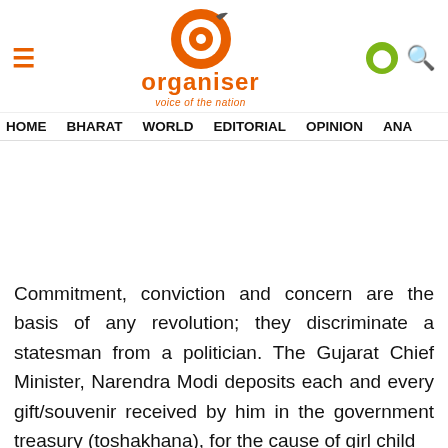[Figure (logo): Organiser magazine logo with orange O circle, text 'organiser' and tagline 'voice of the nation']
HOME   BHARAT   WORLD   EDITORIAL   OPINION   ANA
Commitment, conviction and concern are the basis of any revolution; they discriminate a statesman from a politician. The Gujarat Chief Minister, Narendra Modi deposits each and every gift/souvenir received by him in the government treasury (toshakhana), for the cause of girl child